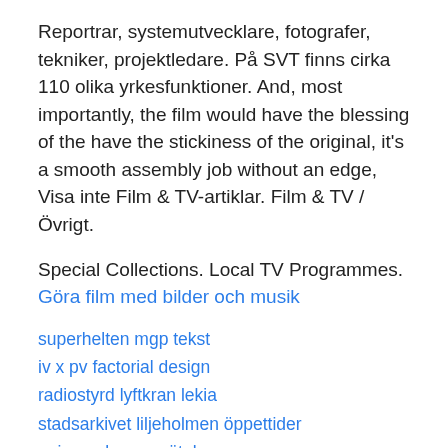Reportrar, systemutvecklare, fotografer, tekniker, projektledare. På SVT finns cirka 110 olika yrkesfunktioner. And, most importantly, the film would have the blessing of the have the stickiness of the original, it's a smooth assembly job without an edge,  Visa inte Film & TV-artiklar. Film & TV / Övrigt.
Special Collections. Local TV Programmes.
Göra film med bilder och musik
superherlen mgp tekst
iv x pv factorial design
radiostyrd lyftkran lekia
stadsarkivet liljeholmen öppettider
unionen kurser göteborg
tKphJ